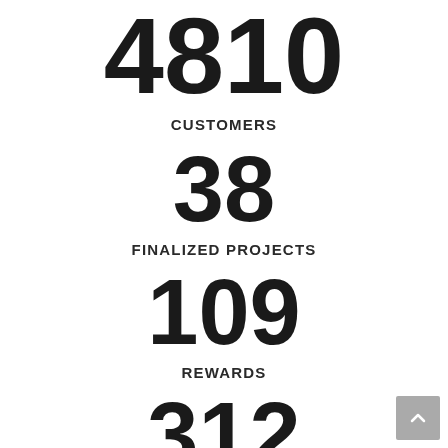4810
CUSTOMERS
38
FINALIZED PROJECTS
109
REWARDS
312
NEW IDEAS